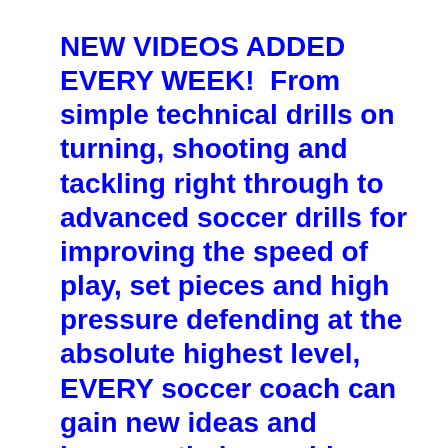NEW VIDEOS ADDED EVERY WEEK!  From simple technical drills on turning, shooting and tackling right through to advanced soccer drills for improving the speed of play, set pieces and high pressure defending at the absolute highest level, EVERY soccer coach can gain new ideas and improve their coaching knowledge from this vast collection.
Are you struggling for new ideas on how you can improve soccer coaching sessions? Are your